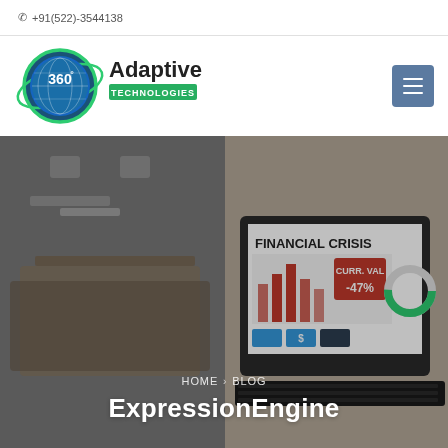+91(522)-3544138
[Figure (logo): 360 Adaptive Technologies logo - circular blue/green globe with '360°' and 'Adaptive Technologies' text]
[Figure (photo): Hero banner image: left half shows office desk with notebooks/tablet (dimmed overlay); right half shows laptop screen displaying 'FINANCIAL CRISIS' with bar charts and -47% indicator]
HOME › BLOG
ExpressionEngine